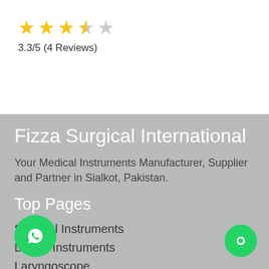[Figure (other): Star rating showing 3.3/5 with 4 filled/half stars in gold and empty star]
3.3/5 (4 Reviews)
Fizza Surgical International
Your Medical Instruments Manufacturer, Supplier and Partner in Sialkot, Pakistan.
Top Pages
Surgical Instruments
Dental Instruments
Laryngoscope
orthopedic Instruments
Holloware Instruments
B... Instruments